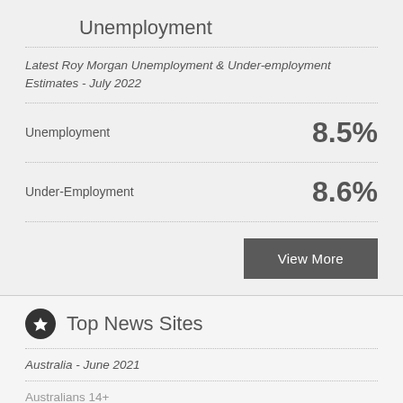Unemployment
Latest Roy Morgan Unemployment & Under-employment Estimates - July 2022
Unemployment    8.5%
Under-Employment    8.6%
View More
Top News Sites
Australia - June 2021
Australians 14+